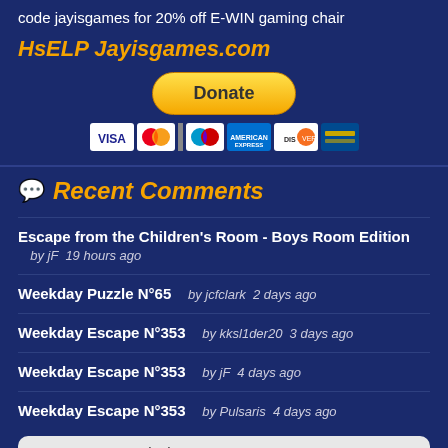code jayisgames for 20% off E-WIN gaming chair
HsELP Jayisgames.com
[Figure (other): PayPal Donate button with payment card icons (Visa, Mastercard, Maestro, American Express, Discover, and one more)]
Recent Comments
Escape from the Children's Room - Boys Room Edition  by jF  19 hours ago
Weekday Puzzle N°65  by jcfclark  2 days ago
Weekday Escape N°353  by kksl1der20  3 days ago
Weekday Escape N°353  by jF  4 days ago
Weekday Escape N°353  by Pulsaris  4 days ago
Display 5 more comments